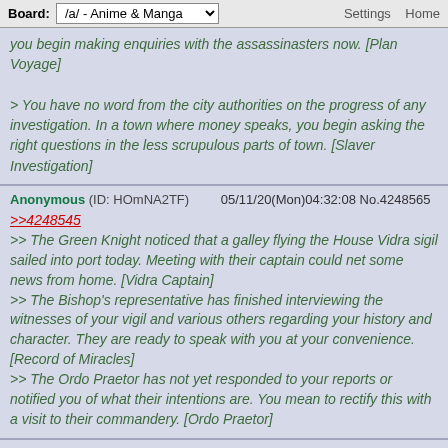Board: /a/ - Anime & Manga   Settings  Home
you begin making enquiries with the assassinasters now. [Plan Voyage]
> You have no word from the city authorities on the progress of any investigation. In a town where money speaks, you begin asking the right questions in the less scrupulous parts of town. [Slaver Investigation]
Anonymous (ID: HOmNA2TF)  05/11/20(Mon)04:32:08 No.4248565
>>4248545
>> The Green Knight noticed that a galley flying the House Vidra sigil sailed into port today. Meeting with their captain could net some news from home. [Vidra Captain]
>> The Bishop's representative has finished interviewing the witnesses of your vigil and various others regarding your history and character. They are ready to speak with you at your convenience. [Record of Miracles]
>> The Ordo Praetor has not yet responded to your reports or notified you of what their intentions are. You mean to rectify this with a visit to their commandery. [Ordo Praetor]
Anonymous (ID: 0L9+LZgW)  05/11/20(Mon)04:33:41 No.4248566
>>4248545
> The Bishop's representative has finished interviewing the witnesses of your vigil and various others regarding your history